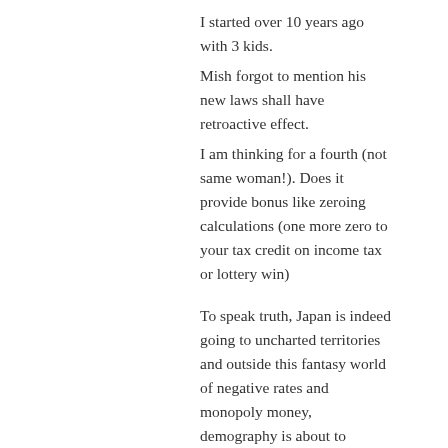I started over 10 years ago with 3 kids.
Mish forgot to mention his new laws shall have retroactive effect.
I am thinking for a fourth (not same woman!). Does it provide bonus like zeroing calculations (one more zero to your tax credit on income tax or lottery win)
To speak truth, Japan is indeed going to uncharted territories and outside this fantasy world of negative rates and monopoly money, demography is about to collapse: working of age is at its full and soon to diminish hard, so expect the worse.
Loading...
REPLY
Professorlocknload said: April 22, 2016 9:32:21 at 9:32 AM
Seems to me that Japan should simply convert it’s auto industry to the manufacture of home printing presses so that folks wouldn’t need to hoard any longer, they could simply print as much as they wish anytime they wish. Then things would be able to be used as food and shelter.